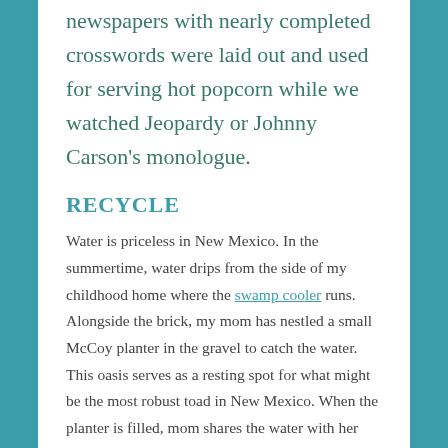newspapers with nearly completed crosswords were laid out and used for serving hot popcorn while we watched Jeopardy or Johnny Carson's monologue.
RECYCLE
Water is priceless in New Mexico. In the summertime, water drips from the side of my childhood home where the swamp cooler runs. Alongside the brick, my mom has nestled a small McCoy planter in the gravel to catch the water. This oasis serves as a resting spot for what might be the most robust toad in New Mexico. When the planter is filled, mom shares the water with her tomato plants and returns the toad's tiny home to its spot to refill.